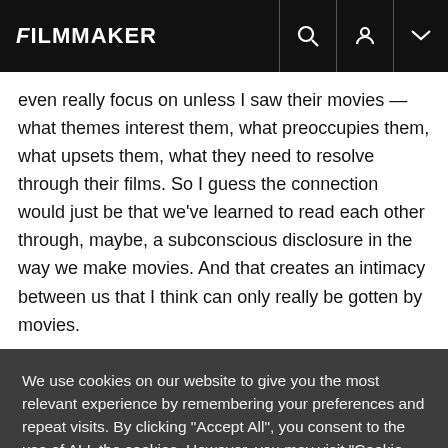FILMMAKER
even really focus on unless I saw their movies — what themes interest them, what preoccupies them, what upsets them, what they need to resolve through their films. So I guess the connection would just be that we've learned to read each other through, maybe, a subconscious disclosure in the way we make movies. And that creates an intimacy between us that I think can only really be gotten by movies.
We use cookies on our website to give you the most relevant experience by remembering your preferences and repeat visits. By clicking "Accept All", you consent to the use of ALL the cookies. However, you may visit "Cookie Settings" to provide a controlled consent.